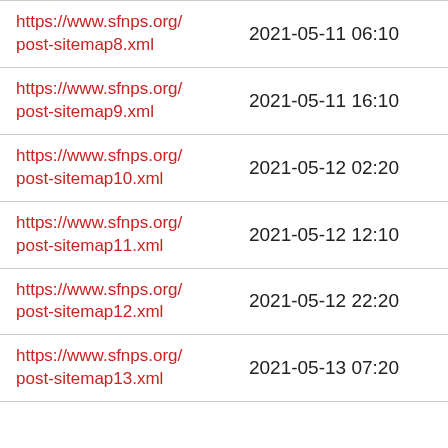| URL | Date |
| --- | --- |
| https://www.sfnps.org/post-sitemap8.xml | 2021-05-11 06:10 |
| https://www.sfnps.org/post-sitemap9.xml | 2021-05-11 16:10 |
| https://www.sfnps.org/post-sitemap10.xml | 2021-05-12 02:20 |
| https://www.sfnps.org/post-sitemap11.xml | 2021-05-12 12:10 |
| https://www.sfnps.org/post-sitemap12.xml | 2021-05-12 22:20 |
| https://www.sfnps.org/post-sitemap13.xml | 2021-05-13 07:20 |